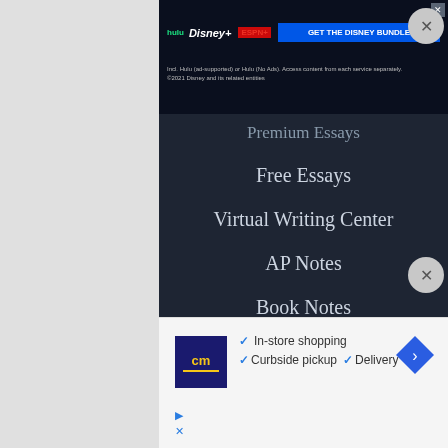[Figure (screenshot): Disney Bundle advertisement banner with Hulu, Disney+, ESPN+ logos and 'GET THE DISNEY BUNDLE' button. Fine print: 'Incl. Hulu (ad-supported) or Hulu (No Ads). Access content from each service separately. ©2021 Disney and its related entities']
Premium Essays
Free Essays
Virtual Writing Center
AP Notes
Book Notes
Citation Generator
iOS App
Android App
ABOUT
Company
[Figure (screenshot): cm (Circuit City style logo) store ad with checkmarks: In-store shopping, Curbside pickup, Delivery. Blue diamond navigation arrow icon on right. Play and X icons at bottom left.]